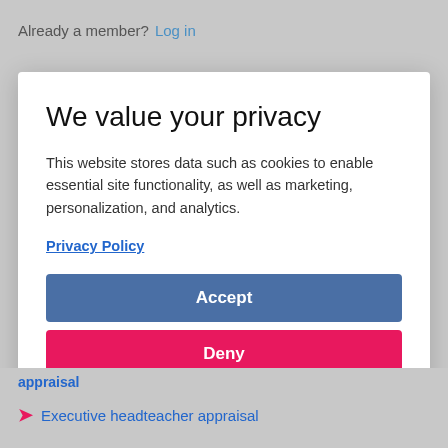Already a member? Log in
We value your privacy
This website stores data such as cookies to enable essential site functionality, as well as marketing, personalization, and analytics.
Privacy Policy
Accept
Deny
appraisal
Executive headteacher appraisal